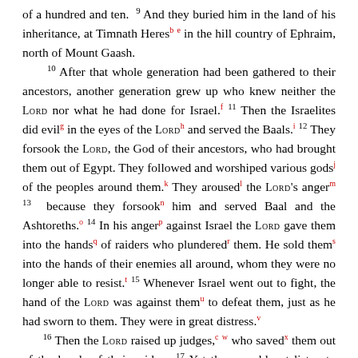of a hundred and ten. 9 And they buried him in the land of his inheritance, at Timnath Heres[b][e] in the hill country of Ephraim, north of Mount Gaash. 10 After that whole generation had been gathered to their ancestors, another generation grew up who knew neither the LORD nor what he had done for Israel.[f] 11 Then the Israelites did evil[g] in the eyes of the LORD[h] and served the Baals.[i] 12 They forsook the LORD, the God of their ancestors, who had brought them out of Egypt. They followed and worshiped various gods[j] of the peoples around them.[k] They aroused[l] the LORD's anger[m] 13 because they forsook[n] him and served Baal and the Ashtoreths.[o] 14 In his anger[p] against Israel the LORD gave them into the hands[q] of raiders who plundered[r] them. He sold them[s] into the hands of their enemies all around, whom they were no longer able to resist.[t] 15 Whenever Israel went out to fight, the hand of the LORD was against them[u] to defeat them, just as he had sworn to them. They were in great distress.[v] 16 Then the LORD raised up judges,[c][w] who saved[x] them out of the hands of their raiders. 17 Yet they would not listen to their